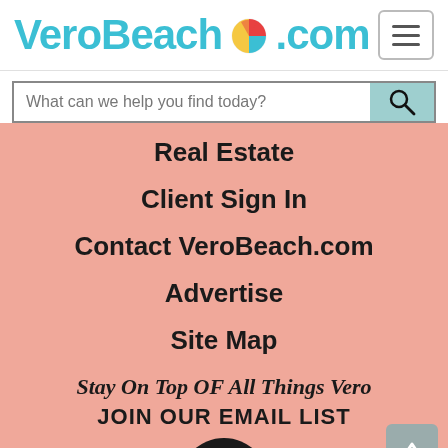[Figure (logo): VeroBeach.com logo with teal text and beach ball replacing the 'o' in Beach]
[Figure (other): Hamburger menu button with three horizontal lines]
What can we help you find today?
Real Estate
Client Sign In
Contact VeroBeach.com
Advertise
Site Map
Stay On Top OF All Things Vero
JOIN OUR EMAIL LIST
[Figure (illustration): Cartoon avatar of a woman in a circle at the bottom]